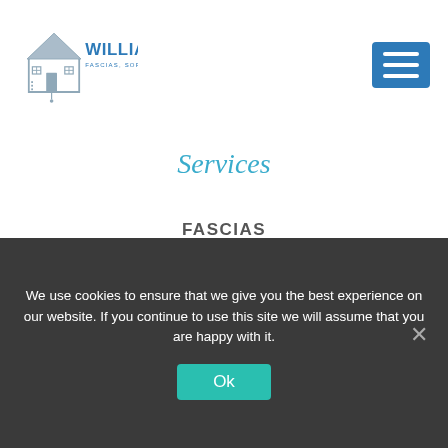[Figure (logo): Williams Fascias, Soffits & Guttering logo with house icon and blue text]
Services
FASCIAS
SOFFITS
GUTTERING
GUTTERING CLEANING
We use cookies to ensure that we give you the best experience on our website. If you continue to use this site we will assume that you are happy with it.